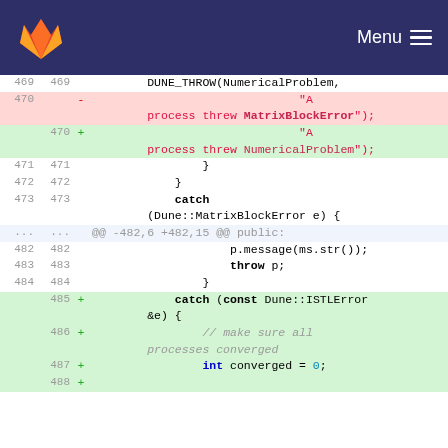GitLab — Menu
[Figure (screenshot): Code diff view showing changes to a C++ source file. Lines 469-488 visible. Line 470 removed: MatrixBlockError string, replaced with NumericalProblem string. Lines 471-484 context lines with catch block. Lines 485-488 added: new catch block for const Dune::ISTLError.]